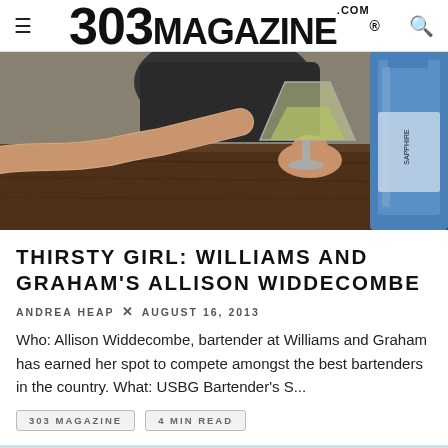303 MAGAZINE .COM ®
[Figure (photo): Close-up photo of a hand holding a cocktail glass on a wooden bar surface, with a blue Bombay Sapphire gin bottle visible on the right side.]
THIRSTY GIRL: WILLIAMS AND GRAHAM'S ALLISON WIDDECOMBE
ANDREA HEAP ✖ AUGUST 16, 2013
Who: Allison Widdecombe, bartender at Williams and Graham has earned her spot to compete amongst the best bartenders in the country. What: USBG Bartender's S...
303 MAGAZINE   4 MIN READ
[Figure (photo): Partial view of a second photo showing a light blue sky background and a dark rounded shape at the bottom, partially cut off at the bottom of the page.]